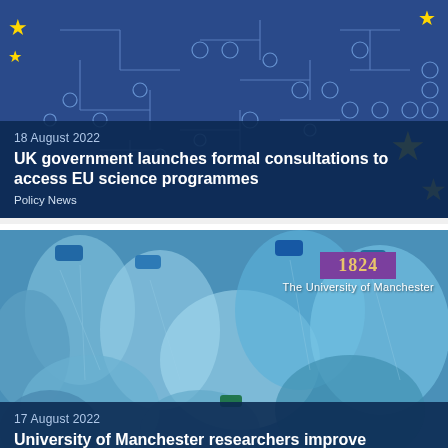[Figure (photo): News card 1: EU flag and circuit board background image with blue tones and yellow stars, overlaid with dark blue text panel]
18 August 2022
UK government launches formal consultations to access EU science programmes
Policy News
[Figure (photo): News card 2: Crushed plastic bottles in blue tones with University of Manchester logo overlay (1824, purple banner)]
17 August 2022
University of Manchester researchers improve